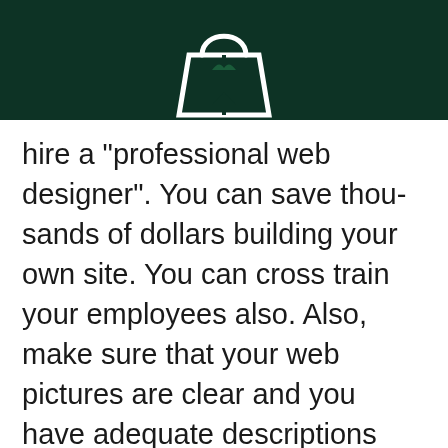[Figure (illustration): Dark green header bar with a white shopping bag icon logo at the top center]
hire a "professional web designer". You can save thousands of dollars building your own site. You can cross train your employees also. Also, make sure that your web pictures are clear and you have adequate descriptions and meta tags for your products. Learn as much as you can about Search Engine Optimization (SEO) and how to promote your business through social networks.
[Figure (illustration): Dark green footer bar with a small green diamond/gem icon at the bottom center]